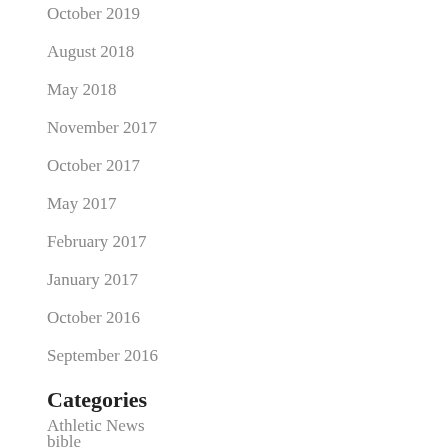October 2019
August 2018
May 2018
November 2017
October 2017
May 2017
February 2017
January 2017
October 2016
September 2016
Categories
Athletic News
bible